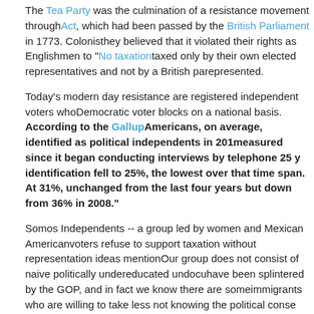The Tea Party was the culmination of a resistance movement through... Act, which had been passed by the British Parliament in 1773. Colonists believed that it violated their rights as Englishmen to "No taxation..." taxed only by their own elected representatives and not by a British pa... represented.
Today's modern day resistance are registered independent voters who... Democratic voter blocks on a national basis. According to the Gallup... Americans, on average, identified as political independents in 201... measured since it began conducting interviews by telephone 25 y... identification fell to 25%, the lowest over that time span. At 31%, ... unchanged from the last four years but down from 36% in 2008."
Somos Independents -- a group led by women and Mexican American... voters refuse to support taxation without representation ideas mention... Our group does not consist of naive politically undereducated undocu... have been splintered by the GOP, and in fact we know there are some... immigrants who are willing to take less not knowing the political conse... situations. Speaker Boehner knows that introducing taxation without r... what sparked our American Revolution.
People who are taxed ought to be represented; and we must not su...